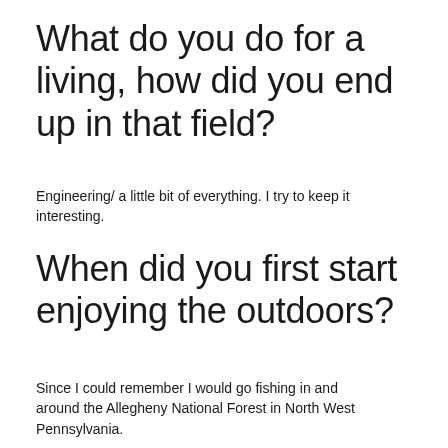What do you do for a living, how did you end up in that field?
Engineering/ a little bit of everything. I try to keep it interesting.
When did you first start enjoying the outdoors?
Since I could remember I would go fishing in and around the Allegheny National Forest in North West Pennsylvania.